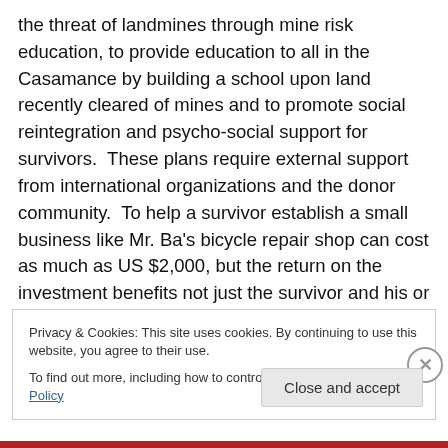the threat of landmines through mine risk education, to provide education to all in the Casamance by building a school upon land recently cleared of mines and to promote social reintegration and psycho-social support for survivors.  These plans require external support from international organizations and the donor community.  To help a survivor establish a small business like Mr. Ba's bicycle repair shop can cost as much as US $2,000, but the return on the investment benefits not just the survivor and his or her family, but the entire community.  To fully develop a cleared minefield can cost upwards of US
Privacy & Cookies: This site uses cookies. By continuing to use this website, you agree to their use.
To find out more, including how to control cookies, see here: Cookie Policy